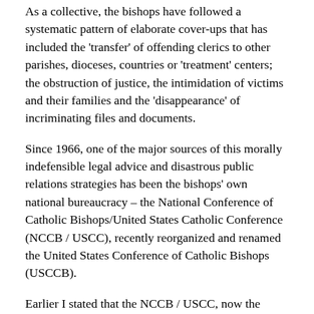As a collective, the bishops have followed a systematic pattern of elaborate cover-ups that has included the ‘transfer’ of offending clerics to other parishes, dioceses, countries or ‘treatment’ centers; the obstruction of justice, the intimidation of victims and their families and the ‘disappearance’ of incriminating files and documents.
Since 1966, one of the major sources of this morally indefensible legal advice and disastrous public relations strategies has been the bishops’ own national bureaucracy – the National Conference of Catholic Bishops/United States Catholic Conference (NCCB / USCC), recently reorganized and renamed the United States Conference of Catholic Bishops (USCCB).
Earlier I stated that the NCCB / USCC, now the USCCB, has been a major player in pro-homosexual politics. If there is any bishop who wishes to take exception to this statement, I advise him first to read an article posted on the USCCB’s website titled “Priest Pedophiles,” written by Melvin C. Blanchette, S.S. and Gerald D. Coleman, SS. The article also reflects the type of pro...